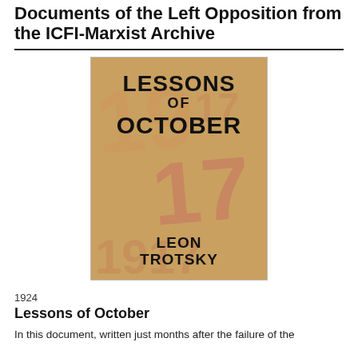Documents of the Left Opposition from the ICFI-Marxist Archive
[Figure (illustration): Book cover of 'Lessons of October' by Leon Trotsky, featuring large bold text on a warm tan/orange background with large numerals '1917' visible behind the text.]
1924
Lessons of October
In this document, written just months after the failure of the